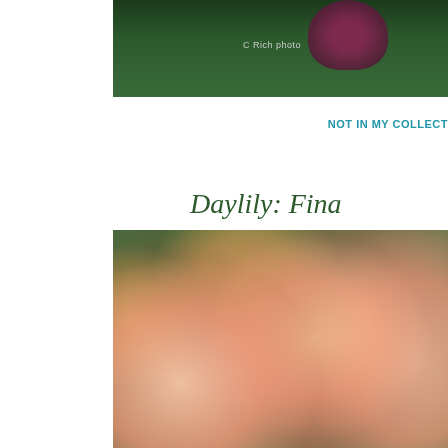[Figure (photo): Partial photo of a dark pink/purple flower against dark green foliage, with 'C Rich photo' watermark text visible]
NOT IN MY COLLECT[ION]
Daylily: Fina[l...]
[Figure (photo): Close-up photo of multiple pink daylily flowers with yellow-cream centers and ruffled petals against green foliage background]